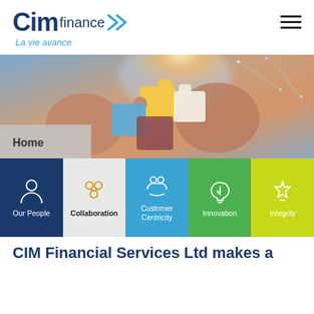[Figure (logo): CIM Finance logo with double chevron arrows and tagline 'La vie avance']
[Figure (photo): Hands holding colorful puzzle pieces against a blurred digital network background. A 'Home' label badge is visible in the lower-left corner.]
[Figure (infographic): Five-column values bar: Our People (dark blue, person icon), Collaboration (light grey, hands icon, dark text), Customer Centricity (blue, hands/people icon), Innovation (green, lightbulb icon), Integrity (lime green, hands/trophy icon)]
CIM Financial Services Ltd makes a